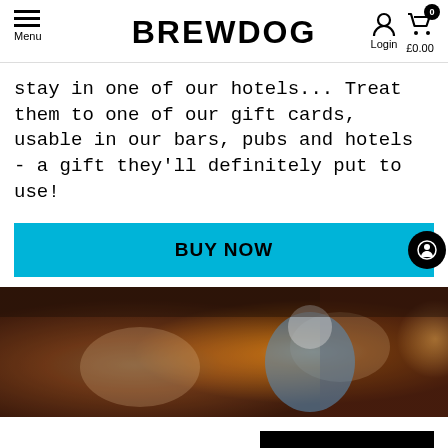BREWDOG — Menu | Login | £0.00
stay in one of our hotels... Treat them to one of our gift cards, usable in our bars, pubs and hotels - a gift they'll definitely put to use!
BUY NOW
[Figure (photo): Interior bar scene with blurred warm lighting, patrons and atmospheric glow]
BRIGHTON
BOOK NOW